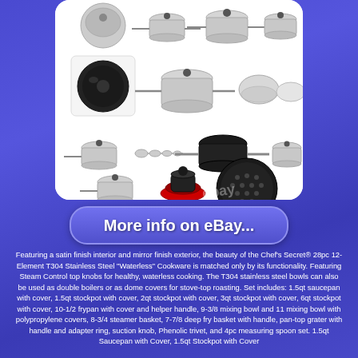[Figure (photo): Product photo collage of Chef's Secret 28pc 12-Element T304 Stainless Steel Waterless Cookware set showing multiple pots, pans, bowls, baskets, and accessories arranged in a grid on white background with rounded corners]
More info on eBay...
Featuring a satin finish interior and mirror finish exterior, the beauty of the Chef's Secret® 28pc 12-Element T304 Stainless Steel "Waterless" Cookware is matched only by its functionality. Featuring Steam Control top knobs for healthy, waterless cooking. The T304 stainless steel bowls can also be used as double boilers or as dome covers for stove-top roasting. Set includes: 1.5qt saucepan with cover, 1.5qt stockpot with cover, 2qt stockpot with cover, 3qt stockpot with cover, 6qt stockpot with cover, 10-1/2 frypan with cover and helper handle, 9-3/8 mixing bowl and 11 mixing bowl with polypropylene covers, 8-3/4 steamer basket, 7-7/8 deep fry basket with handle, pan-top grater with handle and adapter ring, suction knob, Phenolic trivet, and 4pc measuring spoon set. 1.5qt Saucepan with Cover, 1.5qt Stockpot with Cover